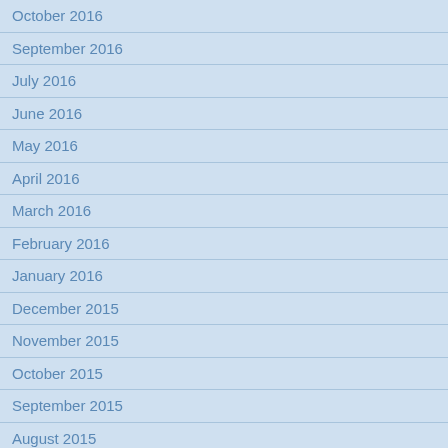October 2016
September 2016
July 2016
June 2016
May 2016
April 2016
March 2016
February 2016
January 2016
December 2015
November 2015
October 2015
September 2015
August 2015
July 2015
June 2015